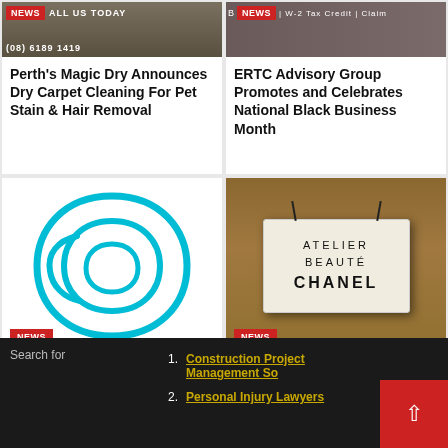[Figure (photo): News article thumbnail showing a person, with 'ALL US TODAY' text and phone number overlay]
Perth's Magic Dry Announces Dry Carpet Cleaning For Pet Stain & Hair Removal
[Figure (photo): News article thumbnail with 'News' badge and text 'W-2 Tax Credit | Claim']
ERTC Advisory Group Promotes and Celebrates National Black Business Month
[Figure (logo): Bitwage logo - blue raindrop/B shape on white background with News badge]
Bitwage Implements
[Figure (photo): Photo of Atelier Beauté Chanel sign on building exterior with News badge]
GenZ Artist Enli Yu from
Search for
Construction Project Management So
Personal Injury Lawyers